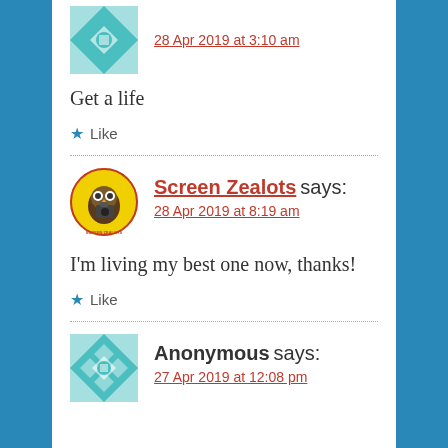[Figure (illustration): Partial teal/white geometric quilt pattern avatar at top of page (cropped)]
28 Apr 2019 at 3:10 am
Get a life
★ Like
[Figure (illustration): Screen Zealots circular logo: yellow background with cartoon owl holding a film camera, text 'SCREEN ZEALOTS' around the border]
Screen Zealots says:
28 Apr 2019 at 8:19 am
I'm living my best one now, thanks!
★ Like
[Figure (illustration): Teal/white geometric quilt pattern avatar for Anonymous]
Anonymous says:
27 Apr 2019 at 12:08 pm